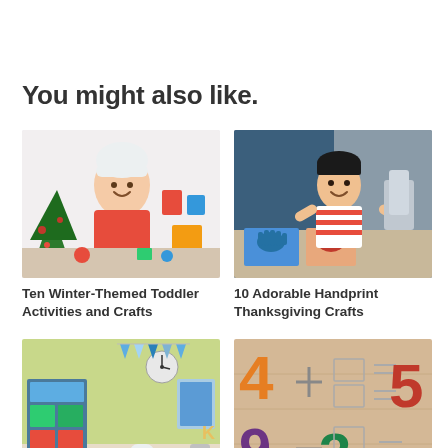You might also like.
[Figure (photo): Young girl wearing a white fluffy hat and red shirt, smiling while doing crafts near a Christmas tree with colorful supplies on a table]
Ten Winter-Themed Toddler Activities and Crafts
[Figure (photo): Young Asian boy smiling and doing handprint art crafts at a table with colorful paper handprints in front of him]
10 Adorable Handprint Thanksgiving Crafts
[Figure (photo): Colorful children's playroom with green walls, bunting, a white chair, shelves with toys, and a bicycle]
[Figure (photo): Wooden number puzzle board with colorful foam numbers 4, 5, 9, 3 and math operation symbols]